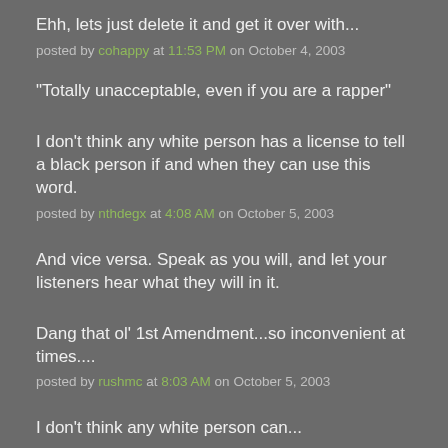Ehh, lets just delete it and get it over with...
posted by cohappy at 11:53 PM on October 4, 2003
"Totally unacceptable, even if you are a rapper"
I don't think any white person has a license to tell a black person if and when they can use this word.
posted by nthdegx at 4:08 AM on October 5, 2003
And vice versa. Speak as you will, and let your listeners hear what they will in it.

Dang that ol' 1st Amendment...so inconvenient at times....
posted by rushmc at 8:03 AM on October 5, 2003
I don't think any white person can...